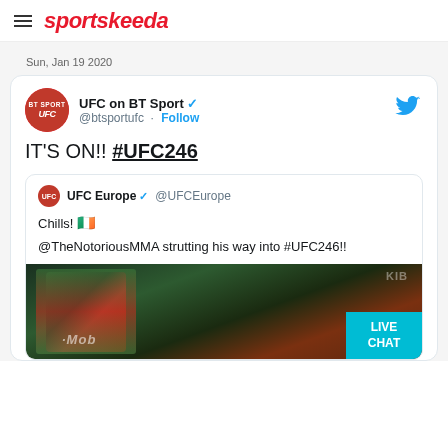sportskeeda
Sun, Jan 19 2020
[Figure (screenshot): Embedded tweet from @btsportufc (UFC on BT Sport) with verified badge. Text: IT'S ON!! #UFC246. Contains a nested retweet from UFC Europe (@UFCEurope) with text: Chills! [Irish flag emoji] @TheNotoriousMMA strutting his way into #UFC246!! Below is a partial image showing someone with an Irish flag at what appears to be T-Mobile Arena. A LIVE CHAT button is visible in the bottom right corner.]